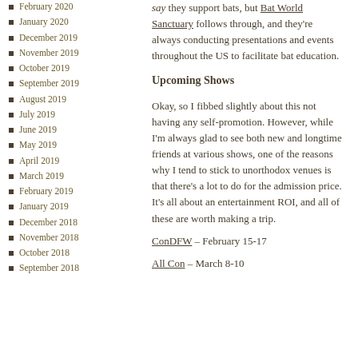February 2020
January 2020
December 2019
November 2019
October 2019
September 2019
August 2019
July 2019
June 2019
May 2019
April 2019
March 2019
February 2019
January 2019
December 2018
November 2018
October 2018
September 2018
say they support bats, but Bat World Sanctuary follows through, and they're always conducting presentations and events throughout the US to facilitate bat education.
Upcoming Shows
Okay, so I fibbed slightly about this not having any self-promotion. However, while I'm always glad to see both new and longtime friends at various shows, one of the reasons why I tend to stick to unorthodox venues is that there's a lot to do for the admission price. It's all about an entertainment ROI, and all of these are worth making a trip.
ConDFW – February 15-17
All Con – March 8-10